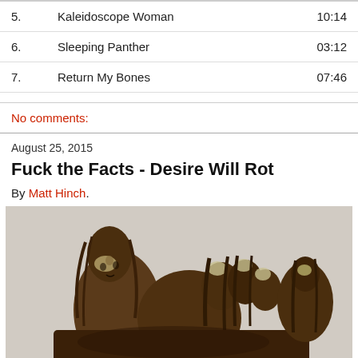| 5. | Kaleidoscope Woman | 10:14 |
| 6. | Sleeping Panther | 03:12 |
| 7. | Return My Bones | 07:46 |
No comments:
August 25, 2015
Fuck the Facts - Desire Will Rot
By Matt Hinch.
[Figure (illustration): Album artwork showing several dark, hunched humanoid figures with long hair and pale, skull-like faces grouped together against a muted grey background. The figures appear brownish-dark and ghostly.]